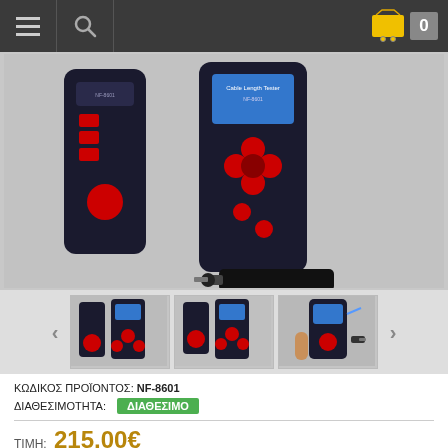[Figure (screenshot): E-commerce website navigation bar with hamburger menu, search icon, and shopping cart showing 0 items]
[Figure (photo): Cable Length Tester NF-8601 product photo showing the main unit and accessories on grey background]
[Figure (photo): Three thumbnail images of the NF-8601 cable tester product from different angles with navigation arrows]
ΚΩΔΙΚΟΣ ΠΡΟΪΟΝΤΟΣ: NF-8601
ΔΙΑΘΕΣΙΜΟΤΗΤΑ: ΔΙΑΘΕΣΙΜΟ
ΤΙΜΗ: 215,00€